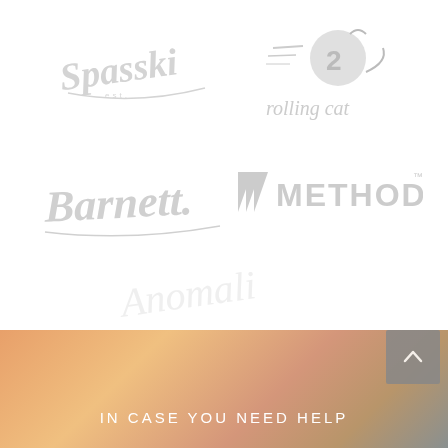[Figure (logo): Spasski script logo in light gray]
[Figure (logo): Rolling cat logo with cat graphic and text in light gray]
[Figure (logo): Barnett script logo in light gray]
[Figure (logo): Method logo with diagonal stripes and bold text in light gray]
[Figure (logo): Anomali script logo faintly visible in very light gray]
[Figure (photo): Blurred warm-toned background image with orange/amber tones in the lower portion of the page]
IN CASE YOU NEED HELP